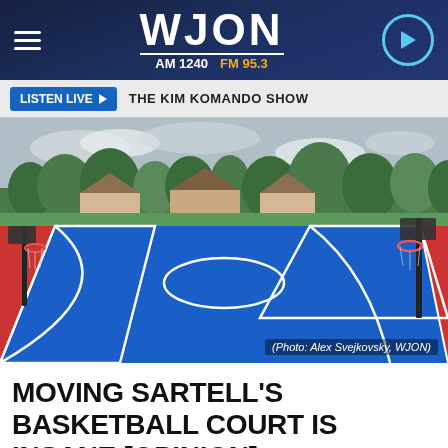WJON AM 1240 FM 95.3
LISTEN LIVE ▶  THE KIM KOMANDO SHOW
[Figure (photo): Outdoor basketball court with blue center and red/orange out-of-bounds area, basketball hoops visible, surrounded by trees and houses in background. Photo credit: Alex Svejkovsky, WJON]
(Photo: Alex Svejkovsky, WJON)
MOVING SARTELL'S BASKETBALL COURT IS INSANE [OPINION]